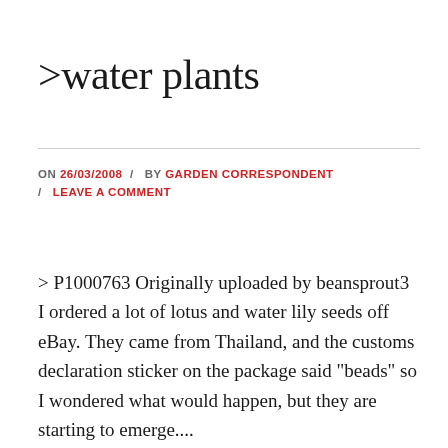>water plants
ON 26/03/2008 / BY GARDEN CORRESPONDENT / LEAVE A COMMENT
> P1000763 Originally uploaded by beansprout3 I ordered a lot of lotus and water lily seeds off eBay. They came from Thailand, and the customs declaration sticker on the package said "beads" so I wondered what would happen, but they are starting to emerge....